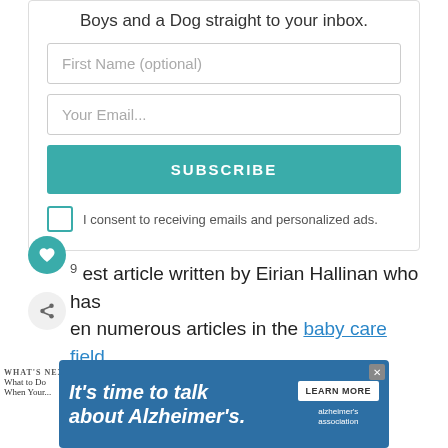Boys and a Dog straight to your inbox.
First Name (optional)
Your Email...
SUBSCRIBE
I consent to receiving emails and personalized ads.
est article written by Eirian Hallinan who has en numerous articles in the baby care field. She believes in healing naturally, first, especially es to infant colic.
WHAT'S NEXT → What to Do When Your...
[Figure (infographic): Advertisement banner: 'It's time to talk about Alzheimer's.' with a LEARN MORE button and the Alzheimer's Association logo.]